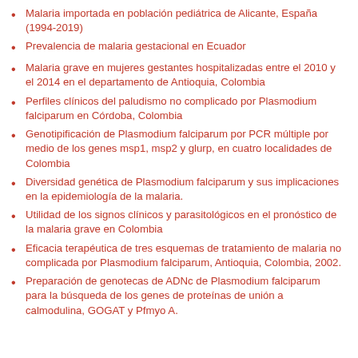Malaria importada en población pediátrica de Alicante, España (1994-2019)
Prevalencia de malaria gestacional en Ecuador
Malaria grave en mujeres gestantes hospitalizadas entre el 2010 y el 2014 en el departamento de Antioquia, Colombia
Perfiles clínicos del paludismo no complicado por Plasmodium falciparum en Córdoba, Colombia
Genotipificación de Plasmodium falciparum por PCR múltiple por medio de los genes msp1, msp2 y glurp, en cuatro localidades de Colombia
Diversidad genética de Plasmodium falciparum y sus implicaciones en la epidemiología de la malaria.
Utilidad de los signos clínicos y parasitológicos en el pronóstico de la malaria grave en Colombia
Eficacia terapéutica de tres esquemas de tratamiento de malaria no complicada por Plasmodium falciparum, Antioquia, Colombia, 2002.
Preparación de genotecas de ADNc de Plasmodium falciparum para la búsqueda de los genes de proteínas de unión a calmodulina, GOGAT y Pfmyo A.